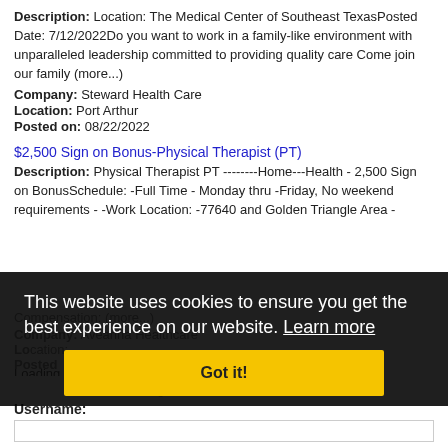Description: Location: The Medical Center of Southeast TexasPosted Date: 7/12/2022Do you want to work in a family-like environment with unparalleled leadership committed to providing quality care Come join our family (more...)
Company: Steward Health Care
Location: Port Arthur
Posted on: 08/22/2022
$2,500 Sign on Bonus-Physical Therapist (PT)
Description: Physical Therapist PT --------Home---Health - 2,500 Sign on BonusSchedule: -Full Time - Monday thru -Friday, No weekend requirements - -Work Location: -77640 and Golden Triangle Area - Compensation: (more...)
Company: Aveanna Healthcare
Loading more jobs Learn more
This website uses cookies to ensure you get the best experience on our website. Learn more
Got it!
Log In or Create An Account
Username: